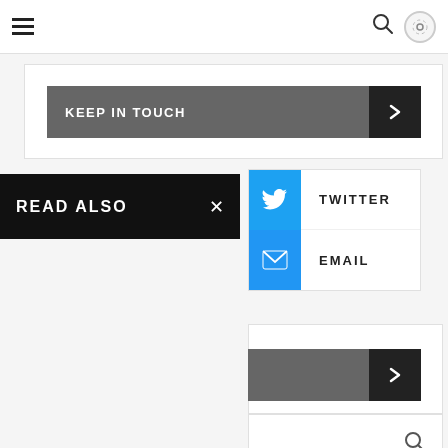Navigation bar with hamburger menu, search icon, and settings button
KEEP IN TOUCH
READ ALSO
TWITTER
EMAIL